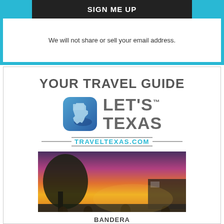SIGN ME UP
We will not share or sell your email address.
YOUR TRAVEL GUIDE
[Figure (logo): Let's Texas logo: blue rounded square with Texas state outline in lighter blue, next to bold text LET'S TEXAS]
[ TRAVELTEXAS.COM ]
[Figure (photo): Outdoor patio scene at sunset in Bandera, Texas. People sitting in wooden chairs around tables with a dramatic orange and pink sky.]
BANDERA